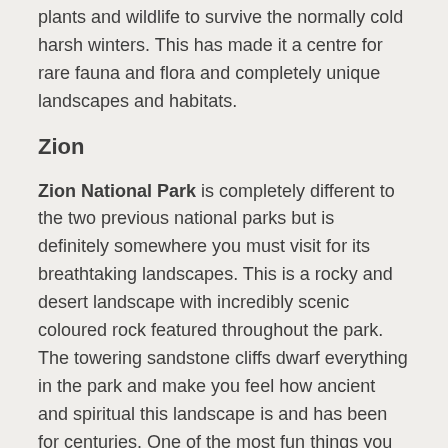plants and wildlife to survive the normally cold harsh winters. This has made it a centre for rare fauna and flora and completely unique landscapes and habitats.
Zion
Zion National Park is completely different to the two previous national parks but is definitely somewhere you must visit for its breathtaking landscapes. This is a rocky and desert landscape with incredibly scenic coloured rock featured throughout the park. The towering sandstone cliffs dwarf everything in the park and make you feel how ancient and spiritual this landscape is and has been for centuries. One of the most fun things you can do here is visit the other-worldly slot canyons (very popular on Instagram!) as well as rafting and kayaking along the rivers.
Acadia National Park